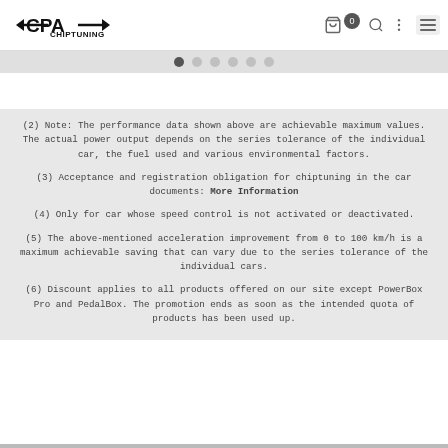CPA CHIPTUNING
(2) Note: The performance data shown above are achievable maximum values. The actual power output depends on the series tolerance of the individual car, the fuel used and various environmental factors.
(3) Acceptance and registration obligation for chiptuning in the car documents: More Information
(4) Only for car whose speed control is not activated or deactivated.
(5) The above-mentioned acceleration improvement from 0 to 100 km/h is a maximum achievable saving that can vary due to the series tolerance of the individual cars.
(6) Discount applies to all products offered on our site except PowerBox Pro and PedalBox. The promotion ends as soon as the intended quota of products has been used up.